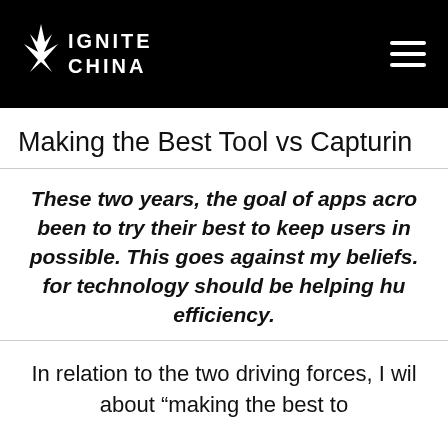IGNITE CHINA
Making the Best Tool vs Capturin
These two years, the goal of apps acro been to try their best to keep users in possible. This goes against my beliefs. for technology should be helping hu efficiency.
In relation to the two driving forces, I wil about “making the best to